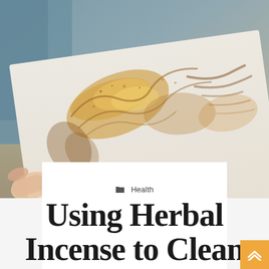[Figure (photo): Close-up photo of a white card or piece of paper held by a hand, covered with golden/brown herbal powder residue forming handprint-like patterns, set against a blurred blue-grey background on a wooden surface.]
Health
Using Herbal Incense to Clean Your Si...